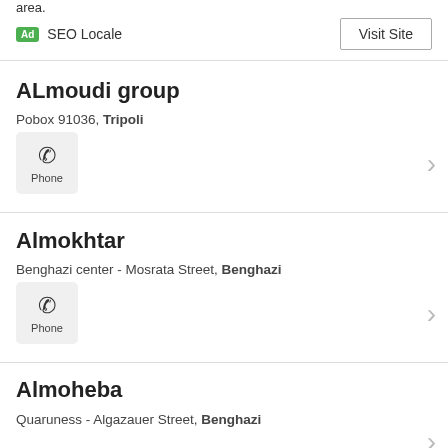area.
Ad  SEO Locale
Visit Site
ALmoudi group
Pobox 91036, Tripoli
Phone
Almokhtar
Benghazi center - Mosrata Street, Benghazi
Phone
Almoheba
Quaruness - Algazauer Street, Benghazi